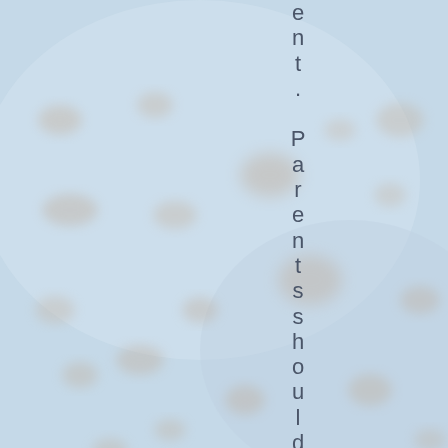[Figure (photo): Light blue sponge-like background with oval-shaped pores/holes scattered across the surface. Soft, muted tones of light blue and beige/tan for the holes.]
ent. Parents should be